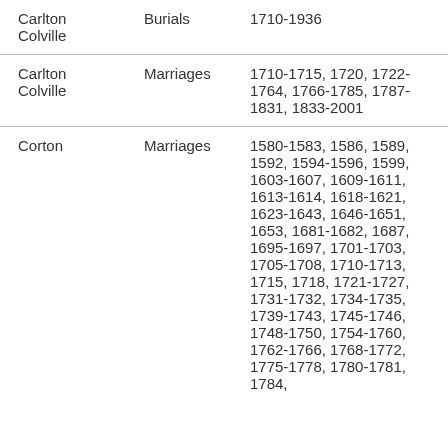| Place | Type | Years |
| --- | --- | --- |
| Carlton Colville | Burials | 1710-1936 |
| Carlton Colville | Marriages | 1710-1715, 1720, 1722-1764, 1766-1785, 1787-1831, 1833-2001 |
| Corton | Marriages | 1580-1583, 1586, 1589, 1592, 1594-1596, 1599, 1603-1607, 1609-1611, 1613-1614, 1618-1621, 1623-1643, 1646-1651, 1653, 1681-1682, 1687, 1695-1697, 1701-1703, 1705-1708, 1710-1713, 1715, 1718, 1721-1727, 1731-1732, 1734-1735, 1739-1743, 1745-1746, 1748-1750, 1754-1760, 1762-1766, 1768-1772, 1775-1778, 1780-1781, 1784, |